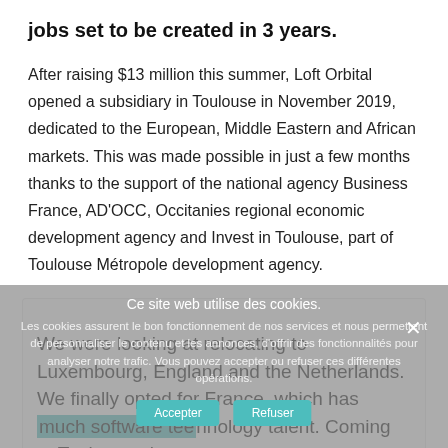jobs set to be created in 3 years.
After raising $13 million this summer, Loft Orbital opened a subsidiary in Toulouse in November 2019, dedicated to the European, Middle Eastern and African markets. This was made possible in just a few months thanks to the support of the national agency Business France, AD'OCC, Occitanies regional economic development agency and Invest in Toulouse, part of Toulouse Métropole development agency.
We were looking at relocating to Luxembourg, England and the Netherlands. We finally opted for France, which has much software technology talent. Coming to Toulouse also seemed...
Ce site web utilise des cookies. Les cookies assurent le bon fonctionnement de nos services et nous permettent de personnaliser le contenu et les annonces, d'offrir des fonctionnalités pour analyser notre trafic. Vous pouvez accepter ou refuser ces différentes opérations.